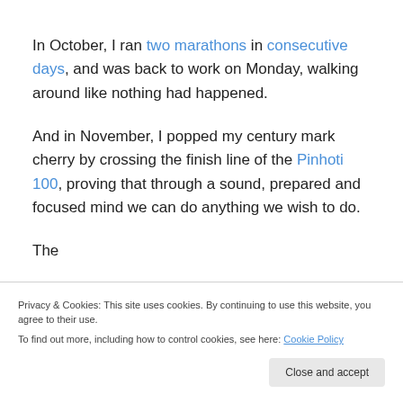In October, I ran two marathons in consecutive days, and was back to work on Monday, walking around like nothing had happened.
And in November, I popped my century mark cherry by crossing the finish line of the Pinhoti 100, proving that through a sound, prepared and focused mind we can do anything we wish to do.
The... (partial line cut off)
Privacy & Cookies: This site uses cookies. By continuing to use this website, you agree to their use. To find out more, including how to control cookies, see here: Cookie Policy